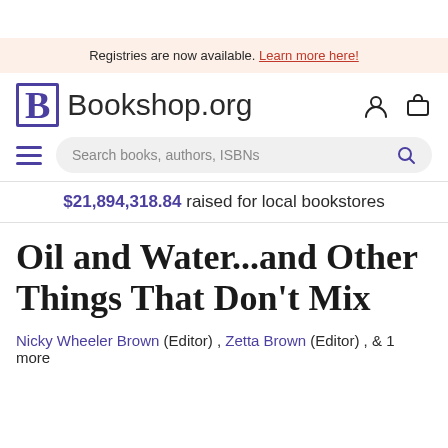Registries are now available. Learn more here!
[Figure (logo): Bookshop.org logo with stylized B lettermark and site name, plus account and cart icons]
Search books, authors, ISBNs
$21,894,318.84 raised for local bookstores
Oil and Water...and Other Things That Don't Mix
Nicky Wheeler Brown (Editor) , Zetta Brown (Editor) , & 1 more